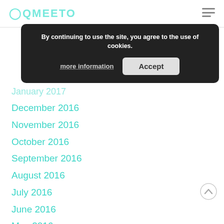QMEETO
[Figure (screenshot): Cookie consent banner with text 'By continuing to use the site, you agree to the use of cookies.' and buttons 'more information' and 'Accept']
January 2017
December 2016
November 2016
October 2016
September 2016
August 2016
July 2016
June 2016
May 2016
April 2016
March 2016
February 2016